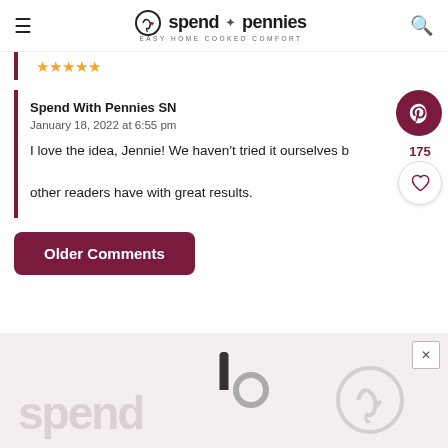spend with pennies — EASY HOME COOKED COMFORT
[Figure (other): Four and a half gold star rating icons]
Spend With Pennies SN
January 18, 2022 at 6:55 pm
I love the idea, Jennie! We haven't tried it ourselves but have seen other readers have with great results.
Reply
175
Older Comments
[Figure (logo): Spend with Pennies watermark logo in light pink/grey at bottom of page]